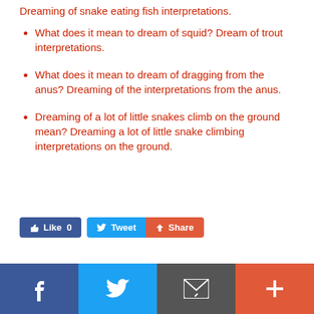Dreaming of snake eating fish interpretations.
What does it mean to dream of squid? Dream of trout interpretations.
What does it mean to dream of dragging from the anus? Dreaming of the interpretations from the anus.
Dreaming of a lot of little snakes climb on the ground mean? Dreaming a lot of little snake climbing interpretations on the ground.
[Figure (other): Social sharing buttons: Like 0 (Facebook), Tweet (Twitter), Share (Google+)]
[Figure (other): Footer social bar with Facebook, Twitter, Email, and Plus icons]